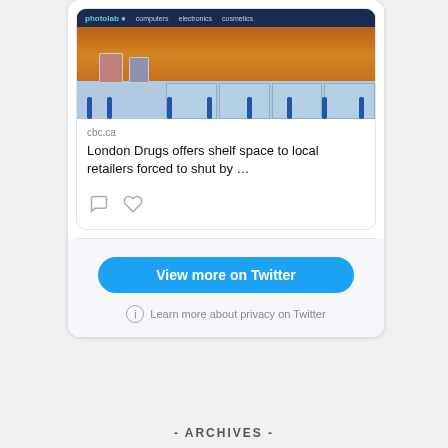[Figure (screenshot): London Drugs store front photo showing photolab, computers, electronics, cosmetics navigation bar and orange/wood facade with blue bollards]
cbc.ca
London Drugs offers shelf space to local retailers forced to shut by …
View more on Twitter
Learn more about privacy on Twitter
- ARCHIVES -